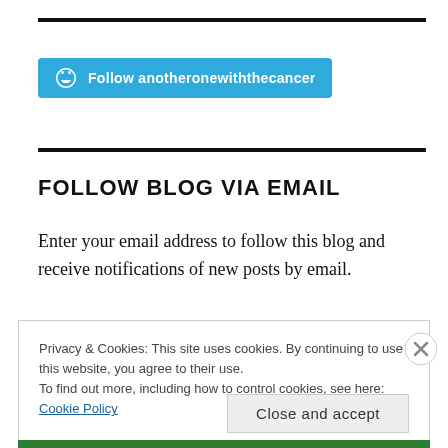[Figure (other): Horizontal thick black rule line at top]
[Figure (other): WordPress Follow button with W logo and text 'Follow anotheronewiththecancer' on teal/blue background]
[Figure (other): Horizontal thick black rule line in middle]
FOLLOW BLOG VIA EMAIL
Enter your email address to follow this blog and receive notifications of new posts by email.
Privacy & Cookies: This site uses cookies. By continuing to use this website, you agree to their use.
To find out more, including how to control cookies, see here: Cookie Policy
Close and accept